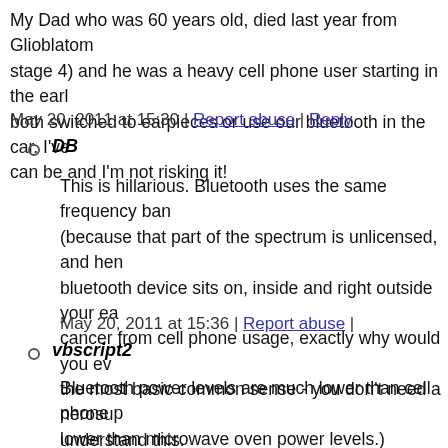My Dad who was 60 years old, died last year from Glioblatom stage 4) and he was a heavy cell phone user starting in the earl both switched to earpieces or use our bluetooth in the car. I've can be and I'm not risking it!
May 20, 2011 at 15:30 | Report abuse | Reply
DB
This is hillarious. Bluetooth uses the same frequency ban (because that part of the spectrum is unlicensed, and hen bluetooth device sits on, inside and right outside your ea cancer from cell phone usage, exactly why would you ev the most basic common sense - you don't need a nerosu understand this.
May 20, 2011 at 15:36 | Report abuse |
vbscript2
Bluetooth power levels are much lower than cell phone p lower than microwave oven power levels.) However, yo frequencies are similar in all of these and the ovens and unlicensed band.
May 20, 2011 at 16:14 | Report abuse |
DB